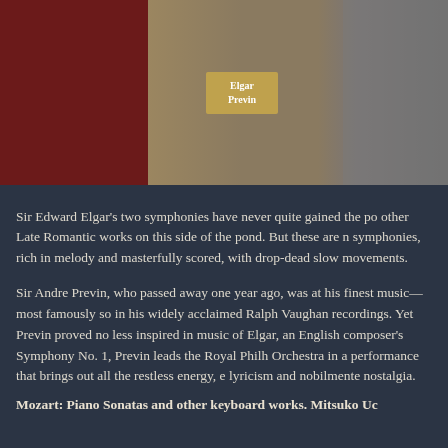[Figure (photo): Album cover / promotional image showing a dark red panel on the left and a tan/brown background on the right with text 'Elgar Previn' and a person in a suit on the far right]
Sir Edward Elgar's two symphonies have never quite gained the po other Late Romantic works on this side of the pond. But these are n symphonies, rich in melody and masterfully scored, with drop-dead slow movements.
Sir Andre Previn, who passed away one year ago, was at his finest music—most famously so in his widely acclaimed Ralph Vaughan recordings. Yet Previn proved no less inspired in music of Elgar, an English composer's Symphony No. 1, Previn leads the Royal Philh Orchestra in a performance that brings out all the restless energy, e lyricism and nobilmente nostalgia.
Mozart: Piano Sonatas and other keyboard works. Mitsuko Uc